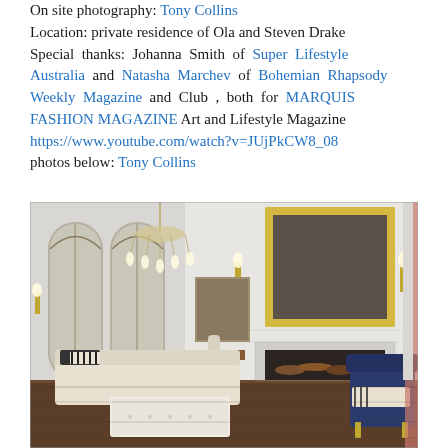On site photography: Tony Collins
Location: private residence of Ola and Steven Drake
Special thanks: Johanna Smith of Super Lifestyle Australia and Natasha Marchev of Bohemian Rhapsody Weekly Magazine and Club , both for MARQUIS FASHION MAGAZINE Art and Lifestyle Magazine
https://www.youtube.com/watch?v=JUjPkCW8_08
photos below: Tony Collins
[Figure (photo): Interior living room of a private residence showing a cream sofa with black and white striped cushions, a white tufted ottoman coffee table, arched gothic-style mirrored panels on the left wall, a large ornate gold-framed mirror above a white fireplace mantel, a crystal chandelier, and a blue velvet accent chair on the right.]